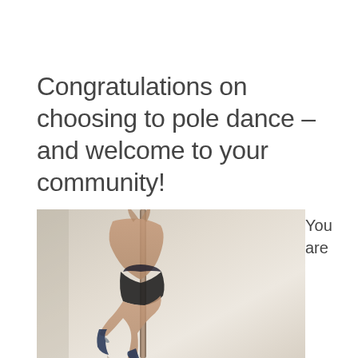Congratulations on choosing to pole dance – and welcome to your community!
[Figure (photo): A pole dancer performing on a vertical pole against a light neutral background. The dancer is wearing dark/black outfit and is positioned holding onto the pole with legs bent. The photo is cropped showing the lower body and pole primarily.]
You are